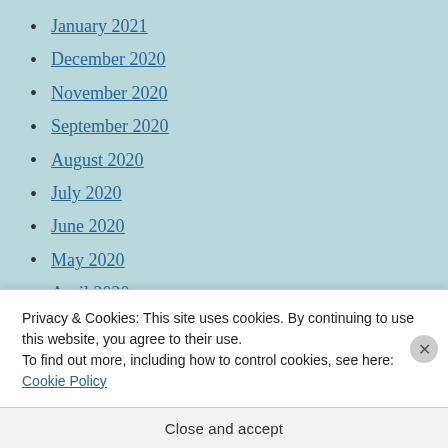January 2021
December 2020
November 2020
September 2020
August 2020
July 2020
June 2020
May 2020
April 2020
December 2019
October 2019
September 2019 (partial)
Privacy & Cookies: This site uses cookies. By continuing to use this website, you agree to their use.
To find out more, including how to control cookies, see here: Cookie Policy
Close and accept